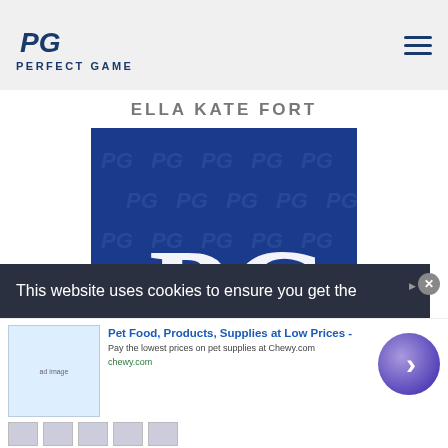PERFECT GAME
ELLA KATE FORT
[Figure (logo): Perfect Game logo on dark blue background with repeating PG watermark pattern]
This website uses cookies to ensure you get the
Pet Food, Products, Supplies at Low Prices -
Pay the lowest prices on pet supplies at Chewy.com
chewy.com